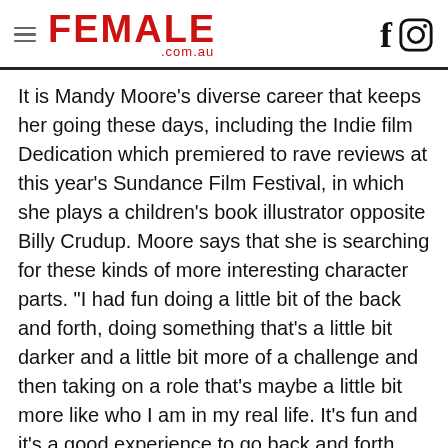FEMALE .com.au
It is Mandy Moore's diverse career that keeps her going these days, including the Indie film Dedication which premiered to rave reviews at this year's Sundance Film Festival, in which she plays a children's book illustrator opposite Billy Crudup. Moore says that she is searching for these kinds of more interesting character parts. "I had fun doing a little bit of the back and forth, doing something that's a little bit darker and a little bit more of a challenge and then taking on a role that's maybe a little bit more like who I am in my real life. It's fun and it's a good experience to go back and forth between doing an indie and a studio movie as well. So I think I just want to find roles that really speak to me, that are a challenge in some way."
But it's her music that continues to redefine the singer/actress, with her latest album Wild Hope, released